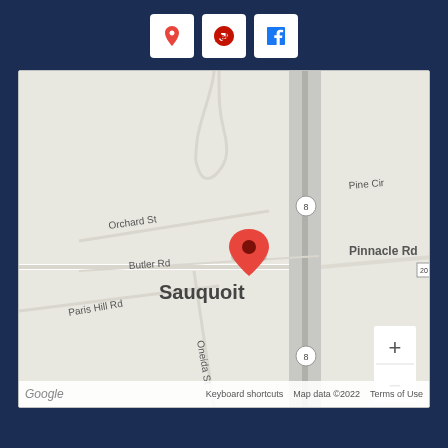[Figure (other): Three social/map icon buttons (Google Maps pin, Yelp, Facebook) on dark navy background]
[Figure (map): Google Map showing Sauquoit, NY area with a red location pin on Pinnacle Rd. Roads visible include Pinnacle Rd, Butler Rd, Orchard St, Paris Hill Rd, Oneida St, Griffiths Pl, Sauquoit Creek. Route 8 visible. Map data ©2022.]